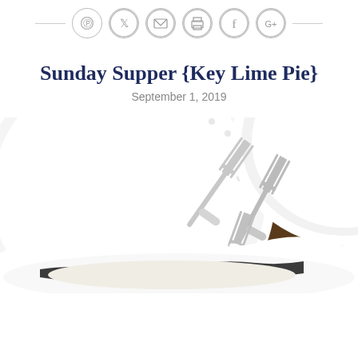[Figure (other): Social sharing icon bar with Pinterest, Twitter, Email, Print, Facebook, and Google+ icons, flanked by horizontal lines]
Sunday Supper {Key Lime Pie}
September 1, 2019
[Figure (photo): Photo of white plates and multiple forks on a dark wood table, with a white ruffled pie dish containing Key Lime Pie with dark cookie crust visible at the bottom]